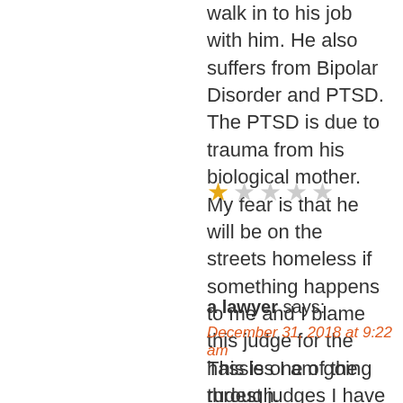walk in to his job with him. He also suffers from Bipolar Disorder and PTSD. The PTSD is due to trauma from his biological mother. My fear is that he will be on the streets homeless if something happens to me and I blame this judge for the hassles I am going through.
[Figure (other): Star rating: 1 out of 5 stars (one filled gold star, four empty grey stars)]
a lawyer says:
December 31, 2018 at 9:22 am
This is one of the rudest judges I have ever appeared before. He is a disgrace and is incompetent. Full of himself because he wears a robe. When will the Social Security Administration remove abusive judges? A rating of zero is too good for him.